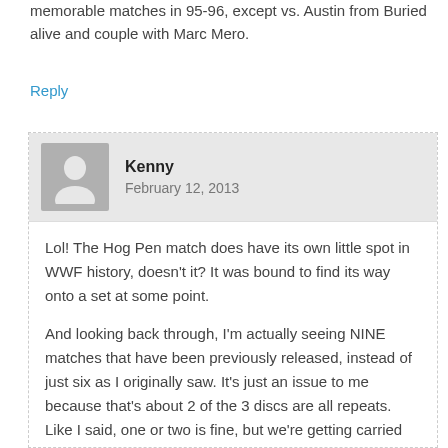memorable matches in 95-96, except vs. Austin from Buried alive and couple with Marc Mero.
Reply
Kenny
February 12, 2013
Lol! The Hog Pen match does have its own little spot in WWF history, doesn't it? It was bound to find its way onto a set at some point.
And looking back through, I'm actually seeing NINE matches that have been previously released, instead of just six as I originally saw. It's just an issue to me because that's about 2 of the 3 discs are all repeats. Like I said, one or two is fine, but we're getting carried away with this set. There are plenty of matches that could be used.
I would keep Bret vs. Hakushi because that was the first match on the first In Your House. Bulldog vs. Diesel for the WWE Championship at the October 1995 show would be